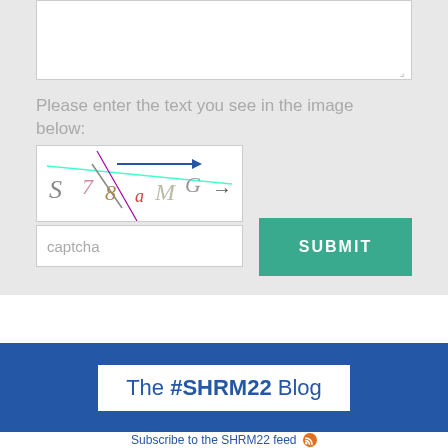[Figure (screenshot): Text area input box with resize handle, light gray background form section]
Please enter the text you see in the image below:
[Figure (screenshot): CAPTCHA image showing distorted characters: S 7 8 G M with colored strikethrough lines]
captcha
SUBMIT
[Figure (screenshot): Dark blue banner with white box containing 'The #SHRM22 Blog' text]
Subscribe to the SHRM22 feed